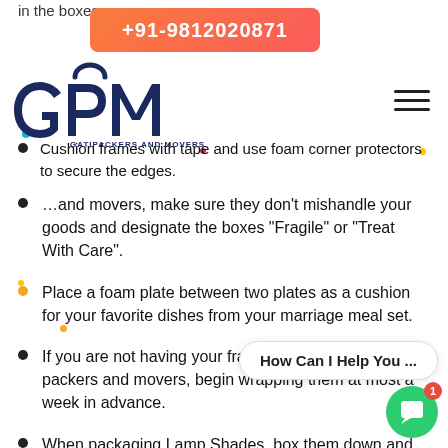in the boxes
[Figure (logo): GPM Gati Packers and Movers logo in dark navy blue]
+91-9812020871
Cushion frames with tape and use foam corner protectors to secure the edges.
If you hire packers and movers, make sure they don't mishandle your goods and designate the boxes "Fragile" or "Treat With Care".
Place a foam plate between two plates as a cushion for your favorite dishes from your marriage meal set.
If you are not having your fragile goods packed by packers and movers, begin wrapping them at most a week in advance.
When packaging Lamp Shades, box them down and place them flat side down. Refrain to put anything substantial on top of them as this may cause harm to the Lampshade.